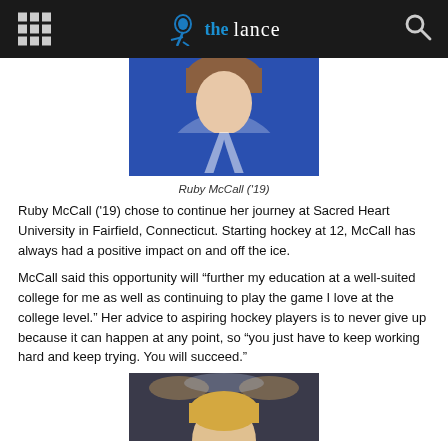the lance
[Figure (photo): Ruby McCall wearing a blue hockey jersey with number/letter design, photo cropped at torso/shoulders]
Ruby McCall ('19)
Ruby McCall ('19) chose to continue her journey at Sacred Heart University in Fairfield, Connecticut. Starting hockey at 12, McCall has always had a positive impact on and off the ice.
McCall said this opportunity will “further my education at a well-suited college for me as well as continuing to play the game I love at the college level.” Her advice to aspiring hockey players is to never give up because it can happen at any point, so “you just have to keep working hard and keep trying. You will succeed.”
[Figure (photo): Another athlete (blonde) photographed from shoulders up, partial view at bottom of page]